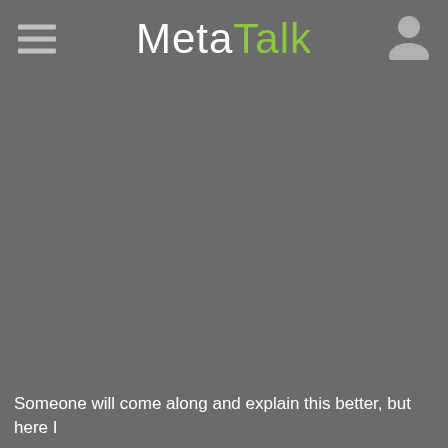MetaTalk
Someone will come along and explain this better, but here I